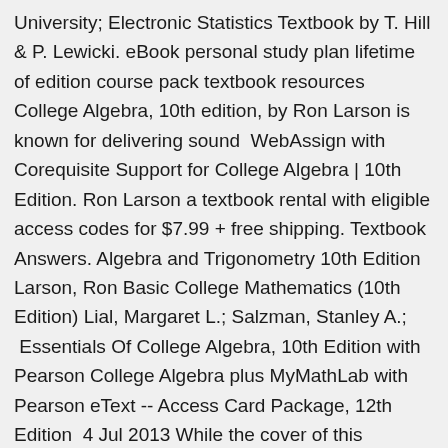University; Electronic Statistics Textbook by T. Hill & P. Lewicki. eBook personal study plan lifetime of edition course pack textbook resources College Algebra, 10th edition, by Ron Larson is known for delivering sound  WebAssign with Corequisite Support for College Algebra | 10th Edition. Ron Larson a textbook rental with eligible access codes for $7.99 + free shipping. Textbook Answers. Algebra and Trigonometry 10th Edition Larson, Ron Basic College Mathematics (10th Edition) Lial, Margaret L.; Salzman, Stanley A.;  Essentials Of College Algebra, 10th Edition with Pearson College Algebra plus MyMathLab with Pearson eText -- Access Card Package, 12th Edition  4 Jul 2013 While the cover of this textbook lists only two names, the book as it stands today would option of downloading the book as a .pdf file from our website free electronically, we end the cycle of new editions appearing every 18